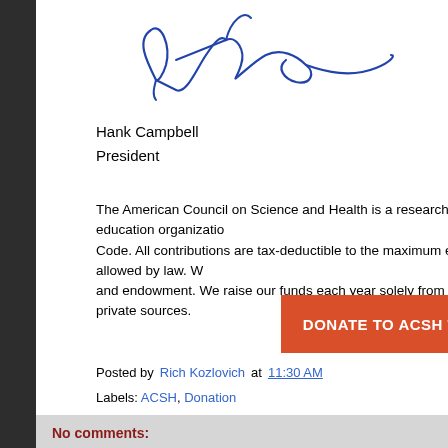[Figure (illustration): Handwritten signature in blue ink of Hank Campbell]
Hank Campbell
President
The American Council on Science and Health is a research and education organization. Code. All contributions are tax-deductible to the maximum extent allowed by law. W and endowment. We raise our funds each year solely from private sources.
[Figure (other): Orange donate button with text DONATE TO ACSH TO]
Posted by Rich Kozlovich at 11:30 AM
Labels: ACSH, Donation
No comments:
Post a Comment